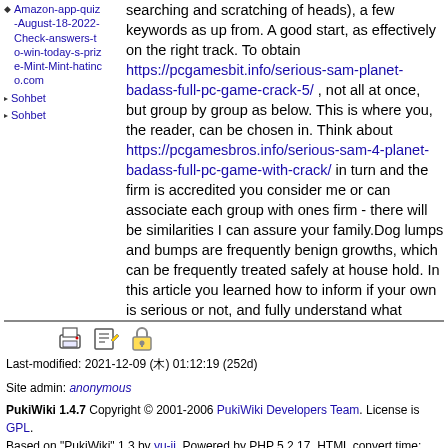Amazon-app-quiz-August-18-2022-Check-answers-to-win-today-s-prize-Mint-Mint-hatinco.com
Sohbet
Sohbet
searching and scratching of heads), a few keywords as up from. A good start, as effectively on the right track. To obtain https://pcgamesbit.info/serious-sam-planet-badass-full-pc-game-crack-5/ , not all at once, but group by group as below. This is where you, the reader, can be chosen in. Think about https://pcgamesbros.info/serious-sam-4-planet-badass-full-pc-game-with-crack/ in turn and the firm is accredited you consider me or can associate each group with ones firm - there will be similarities I can assure your family.Dog lumps and bumps are frequently benign growths, which can be frequently treated safely at house hold. In this article you learned how to inform if your own is serious or not, and fully understand what causes these common lumps. Extra effective solutions to treating these at home are shown, using topical compresses, herbs and homeopathy.
Last-modified: 2021-12-09 (木) 01:12:19 (252d)
Site admin: anonymous
PukiWiki 1.4.7 Copyright © 2001-2006 PukiWiki Developers Team. License is GPL. Based on "PukiWiki" 1.3 by yu-ji. Powered by PHP 5.2.17. HTML convert time: 0.079 sec.